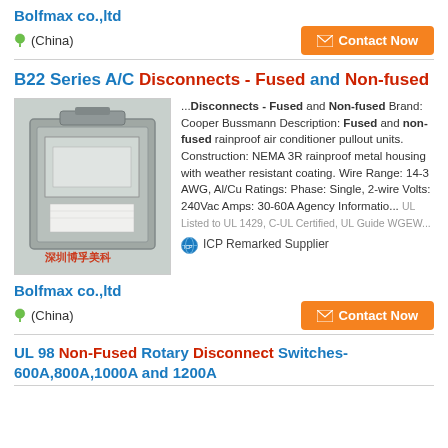Bolfmax co.,ltd
(China)
Contact Now
B22 Series A/C Disconnects - Fused and Non-fused
[Figure (photo): Photo of a B22 Series A/C Disconnect unit with Chinese watermark text]
...Disconnects - Fused and Non-fused Brand: Cooper Bussmann Description: Fused and non-fused rainproof air conditioner pullout units. Construction: NEMA 3R rainproof metal housing with weather resistant coating. Wire Range: 14-3 AWG, Al/Cu Ratings: Phase: Single, 2-wire Volts: 240Vac Amps: 30-60A Agency Informatio... UL Listed to UL 1429, C-UL Certified, UL Guide WGEW...
ICP Remarked Supplier
Bolfmax co.,ltd
(China)
Contact Now
UL 98 Non-Fused Rotary Disconnect Switches- 600A,800A,1000A and 1200A